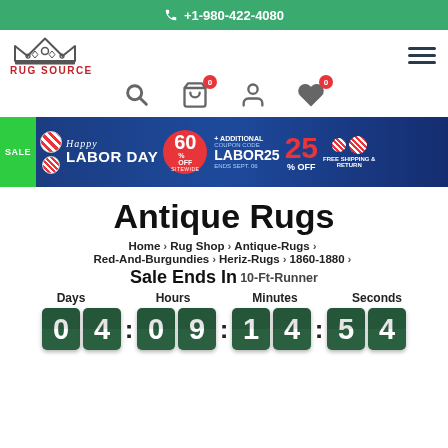+1-980-422-4080
[Figure (logo): Rug Source logo with crown and red text]
[Figure (infographic): Happy Labor Day sale banner: 60% off sitewide, additional 25% off with coupon code LABOR25, ends Sept. 06, Free Shipping & Return]
Antique Rugs
Home > Rug Shop > Antique-Rugs > Red-And-Burgundies > Heriz-Rugs > 1860-1880 > 10-Ft-Runner
Sale Ends In
Days: 04  Hours: 09  Minutes: 14  Seconds: 54